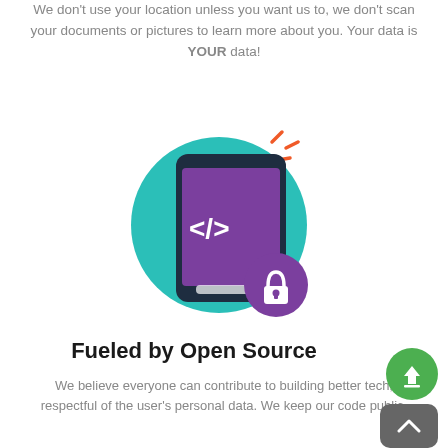We don't use your location unless you want us to, we don't scan your documents or pictures to learn more about you. Your data is YOUR data!
[Figure (illustration): Illustration of a smartphone with code symbol </> on a teal circle background, with an open-source lock badge icon in purple]
Fueled by Open Source
We believe everyone can contribute to building better tech, respectful of the user's personal data. We keep our code public.